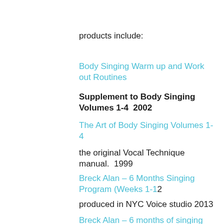products include:
Body Singing Warm up and Work out Routines
Supplement to Body Singing Volumes 1-4  2002
The Art of Body Singing Volumes 1-4
the original Vocal Technique manual.  1999
Breck Alan – 6 Months Singing Program (Weeks 1-12
produced in NYC Voice studio 2013
Breck Alan – 6 months of singing (weeks 13-24)